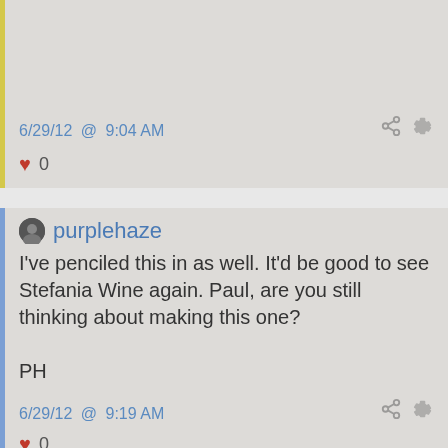6/29/12 @ 9:04 AM
0
purplehaze
I've penciled this in as well. It'd be good to see Stefania Wine again. Paul, are you still thinking about making this one?

PH
6/29/12 @ 9:19 AM
0
stefaniawine
I'm checking on the 11th. Dependent on the day...